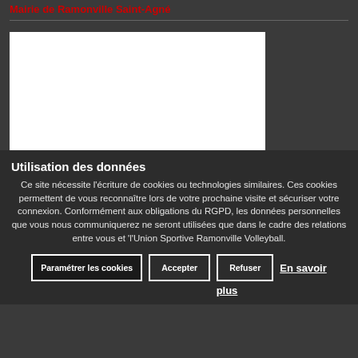Mairie de Ramonville Saint-Agné
[Figure (other): White rectangular box (content area placeholder)]
Utilisation des données
Ce site nécessite l'écriture de cookies ou technologies similaires. Ces cookies permettent de vous reconnaître lors de votre prochaine visite et sécuriser votre connexion. Conformément aux obligations du RGPD, les données personnelles que vous nous communiquerez ne seront utilisées que dans le cadre des relations entre vous et 'l'Union Sportive Ramonville Volleyball.
Paramétrer les cookies | Accepter | Refuser | En savoir plus